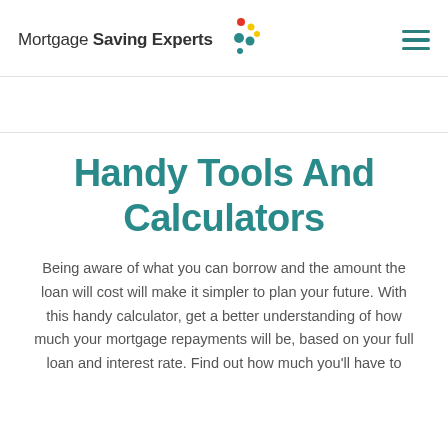Mortgage Saving Experts
Handy Tools And Calculators
Being aware of what you can borrow and the amount the loan will cost will make it simpler to plan your future. With this handy calculator, get a better understanding of how much your mortgage repayments will be, based on your full loan and interest rate. Find out how much you'll have to